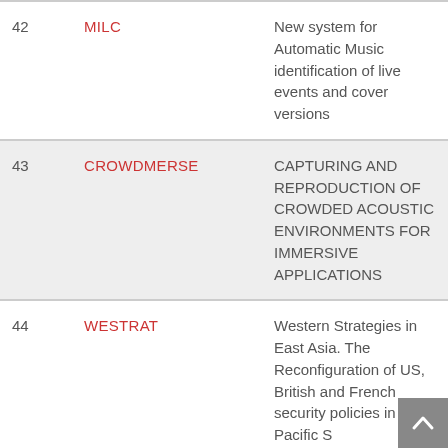| # | Name | Description |
| --- | --- | --- |
| 42 | MILC | New system for Automatic Music identification of live events and cover versions |
| 43 | CROWDMERSE | CAPTURING AND REPRODUCTION OF CROWDED ACOUSTIC ENVIRONMENTS FOR IMMERSIVE APPLICATIONS |
| 44 | WESTRAT | Western Strategies in East Asia. The Reconfiguration of US, British and French security policies in the Pacific S... |